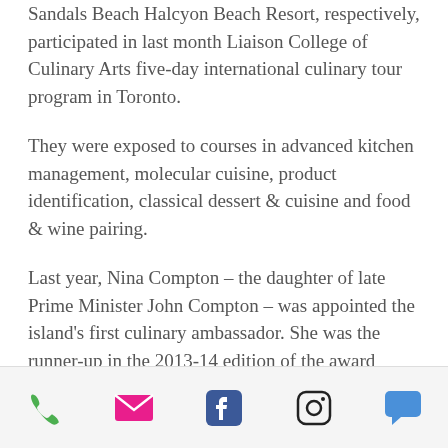Sandals Beach Halcyon Beach Resort, respectively, participated in last month Liaison College of Culinary Arts five-day international culinary tour program in Toronto.
They were exposed to courses in advanced kitchen management, molecular cuisine, product identification, classical dessert & cuisine and food & wine pairing.
Last year, Nina Compton – the daughter of late Prime Minister John Compton – was appointed the island's first culinary ambassador. She was the runner-up in the 2013-14 edition of the award winning series, “Top Chef”.
[Figure (other): Footer bar with five social/contact icons: phone (green), email/envelope (pink/magenta), Facebook (dark blue), Instagram (black outline), and chat bubble (blue).]